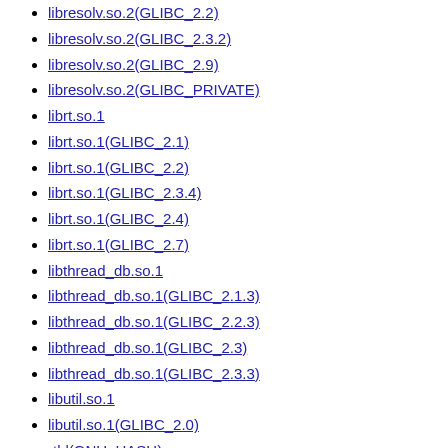libresolv.so.2(GLIBC_2.2)
libresolv.so.2(GLIBC_2.3.2)
libresolv.so.2(GLIBC_2.9)
libresolv.so.2(GLIBC_PRIVATE)
librt.so.1
librt.so.1(GLIBC_2.1)
librt.so.1(GLIBC_2.2)
librt.so.1(GLIBC_2.3.4)
librt.so.1(GLIBC_2.4)
librt.so.1(GLIBC_2.7)
libthread_db.so.1
libthread_db.so.1(GLIBC_2.1.3)
libthread_db.so.1(GLIBC_2.2.3)
libthread_db.so.1(GLIBC_2.3)
libthread_db.so.1(GLIBC_2.3.3)
libutil.so.1
libutil.so.1(GLIBC_2.0)
rtld(GNU_HASH)
should-restart
Requires
/usr/bin/dash.static
/usr/sbin/glibc-post-wrapper
dash-static